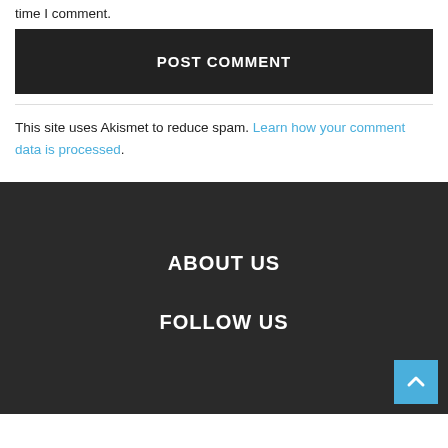time I comment.
POST COMMENT
This site uses Akismet to reduce spam. Learn how your comment data is processed.
ABOUT US
FOLLOW US